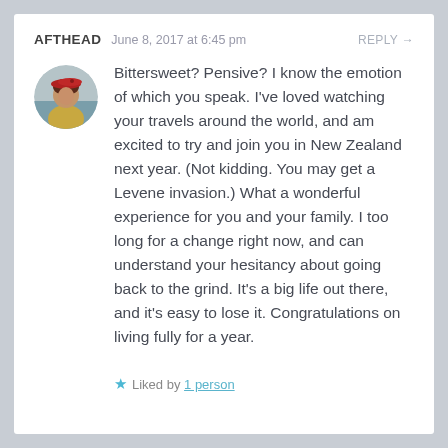AFTHEAD  June 8, 2017 at 6:45 pm  REPLY →
[Figure (photo): Circular avatar photo of a person wearing a red beret]
Bittersweet? Pensive? I know the emotion of which you speak. I've loved watching your travels around the world, and am excited to try and join you in New Zealand next year. (Not kidding. You may get a Levene invasion.) What a wonderful experience for you and your family. I too long for a change right now, and can understand your hesitancy about going back to the grind. It's a big life out there, and it's easy to lose it. Congratulations on living fully for a year.
★ Liked by 1 person